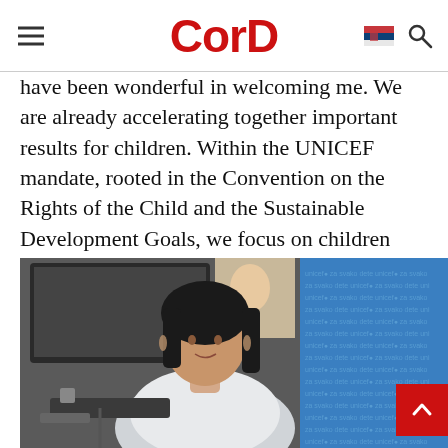CorD
have been wonderful in welcoming me. We are already accelerating together important results for children. Within the UNICEF mandate, rooted in the Convention on the Rights of the Child and the Sustainable Development Goals, we focus on children who are left behind, supporting governments in implementing commitments and monitoring progress.
[Figure (photo): A woman with dark hair wearing a white blouse, seated in an office environment with a UNICEF branded blue backdrop visible on the right side and a computer monitor on the left.]